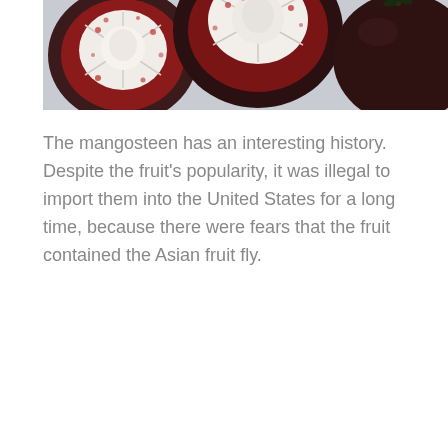[Figure (photo): Close-up photograph of mangosteen fruit cut open, showing deep red/burgundy outer rind with dark purple skin, and white segmented flesh visible inside. Multiple mangosteens arranged on a light grey background.]
The mangosteen has an interesting history. Despite the fruit's popularity, it was illegal to import them into the United States for a long time, because there were fears that the fruit contained the Asian fruit fly.